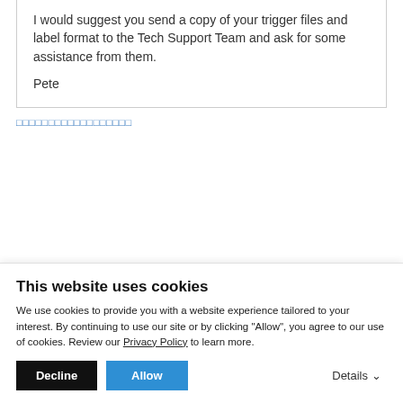I would suggest you send a copy of your trigger files and label format to the Tech Support Team and ask for some assistance from them.

Pete
[pagination squares/link]
BarTender [garbled text] RFID [garbled text]
This website uses cookies
We use cookies to provide you with a website experience tailored to your interest. By continuing to use our site or by clicking "Allow", you agree to our use of cookies. Review our Privacy Policy to learn more.
Decline  Allow  Details